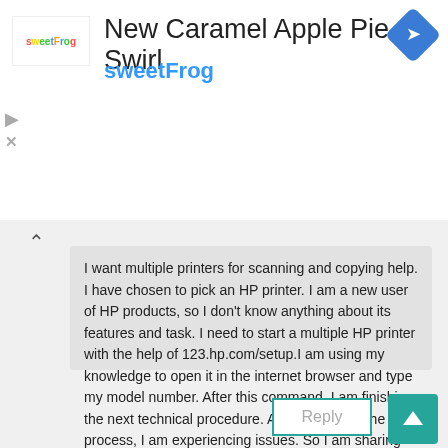[Figure (logo): sweetFrog frozen yogurt brand logo with colorful text]
New Caramel Apple Pie Swirl
sweetFrog
[Figure (illustration): Blue diamond navigation/directions icon with right-turn arrow]
I want multiple printers for scanning and copying help. I have chosen to pick an HP printer. I am a new user of HP products, so I don't know anything about its features and task. I need to start a multiple HP printer with the help of 123.hp.com/setup.I am using my knowledge to open it in the internet browser and type my model number. After this command, I am finishing the next technical procedure. At the center of the process, I am experiencing issues. So I am sharing this issue with you too, guys. Could anyone refer to the right way to set up an HP printer using printer setup
Reply